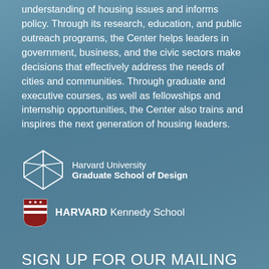understanding of housing issues and informs policy. Through its research, education, and public outreach programs, the Center helps leaders in government, business, and the civic sectors make decisions that effectively address the needs of cities and communities. Through graduate and executive courses, as well as fellowships and internship opportunities, the Center also trains and inspires the next generation of housing leaders.
[Figure (logo): Harvard University Graduate School of Design logo — geometric wireframe cube icon followed by text 'Harvard University Graduate School of Design']
[Figure (logo): Harvard Kennedy School logo — shield icon with HARVARD in bold followed by 'Kennedy School']
SIGN UP FOR OUR MAILING LIST